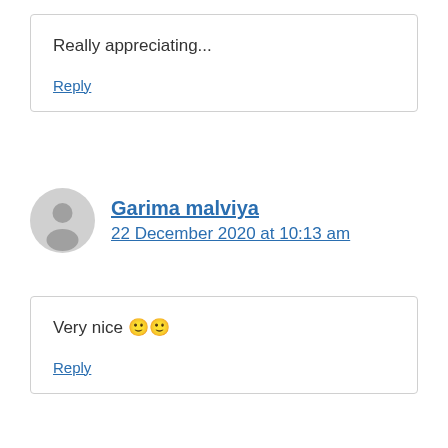Really appreciating...
Reply
Garima malviya
22 December 2020 at 10:13 am
Very nice 🙂🙂
Reply